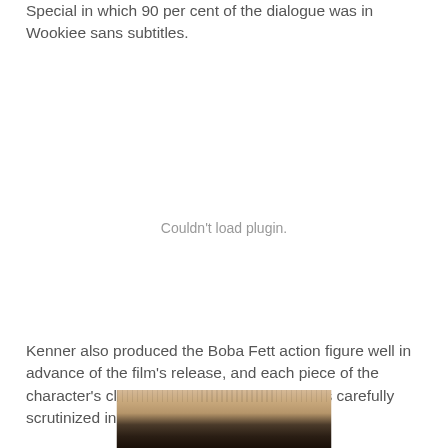Special in which 90 per cent of the dialogue was in Wookiee sans subtitles.
[Figure (other): Couldn't load plugin. Plugin embed placeholder in the middle of the page.]
Kenner also produced the Boba Fett action figure well in advance of the film's release, and each piece of the character's clothing, armor, and weapon was carefully scrutinized in newspaper features like this:
[Figure (photo): Newspaper clipping photograph showing Boba Fett action figure, partially visible at bottom of page.]